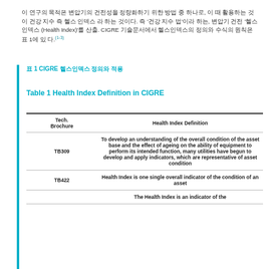이 연구의 목적은 변압기의 건전성을 정량화하기 위한 방법 중의 하나로, 이 때 활용하는 것이 건강 지수 즉 헬스 인덱스 라 하는 것이다. 즉 '건강 지수 법'이라 하는, 변압기 건전 '헬스인덱스 (Health Index)'를 산출. CIGRE 기술문서에서 헬스인덱스의 정의와 수식의 원칙은 표 1에 있다.(1-3)
표 1 CIGRE 헬스인덱스 정의와 적용
Table 1 Health Index Definition in CIGRE
| Tech. Brochure | Health Index Definition |
| --- | --- |
| TB309 | To develop an understanding of the overall condition of the asset base and the effect of ageing on the ability of equipment to perform its intended function, many utilities have begun to develop and apply indicators, which are representative of asset condition |
| TB422 | Health Index is one single overall indicator of the condition of an asset |
|  | The Health Index is an indicator of the... |